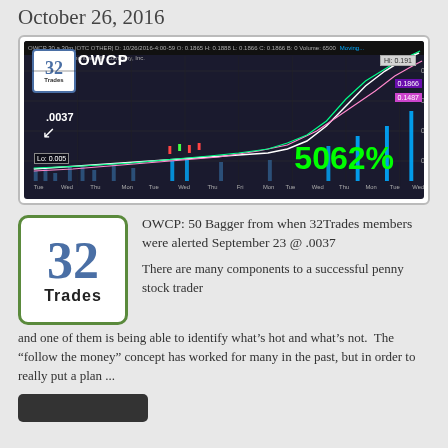October 26, 2016
[Figure (screenshot): OWCP stock chart showing 5062% gain from .0037, with 32Trades logo overlay. Chart shows upward trending penny stock price movement.]
[Figure (logo): 32 Trades logo - large square with green border, '32' in blue serif font, 'Trades' in black below]
OWCP: 50 Bagger from when 32Trades members were alerted September 23 @ .0037
There are many components to a successful penny stock trader and one of them is being able to identify what’s hot and what’s not.  The “follow the money” concept has worked for many in the past, but in order to really put a plan ...